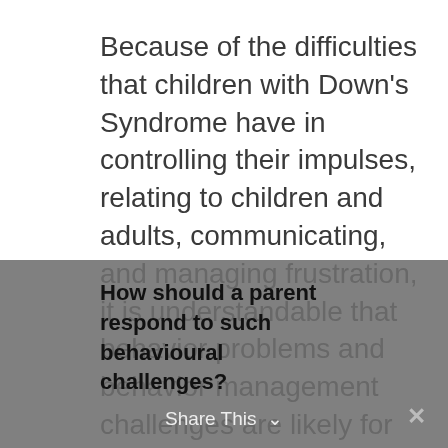Because of the difficulties that children with Down's Syndrome have in controlling their impulses, relating to children and adults, communicating, and managing frustration, it is understandable that behavior problems and behavior management challenges are likely for many parents.
How should a parent respond to such behavioural challenges?
Share This